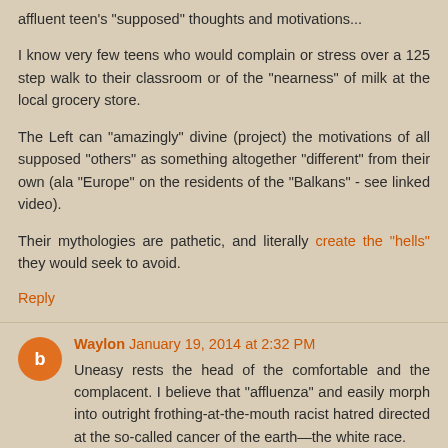affluent teen's "supposed" thoughts and motivations...
I know very few teens who would complain or stress over a 125 step walk to their classroom or of the "nearness" of milk at the local grocery store.
The Left can "amazingly" divine (project) the motivations of all supposed "others" as something altogether "different" from their own (ala "Europe" on the residents of the "Balkans" - see linked video).
Their mythologies are pathetic, and literally create the "hells" they would seek to avoid.
Reply
Waylon January 19, 2014 at 2:32 PM
Uneasy rests the head of the comfortable and the complacent. I believe that "affluenza" and easily morph into outright frothing-at-the-mouth racist hatred directed at the so-called cancer of the earth—the white race.